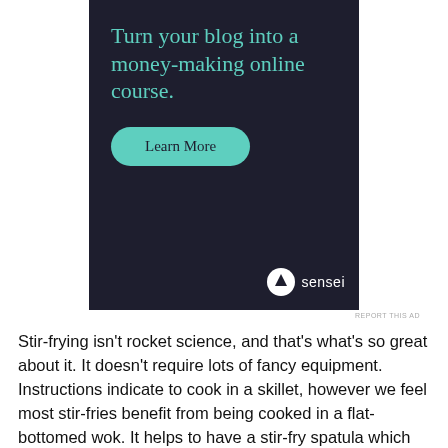[Figure (other): Advertisement banner for Sensei with dark background. Headline: 'Turn your blog into a money-making online course.' with a teal 'Learn More' button and the Sensei logo.]
REPORT THIS AD
Stir-frying isn't rocket science, and that's what's so great about it. It doesn't require lots of fancy equipment. Instructions indicate to cook in a skillet, however we feel most stir-fries benefit from being cooked in a flat-bottomed wok. It helps to have a stir-fry spatula which fits the contour of the wok and has a long handle (to keep distance from the intense heat).